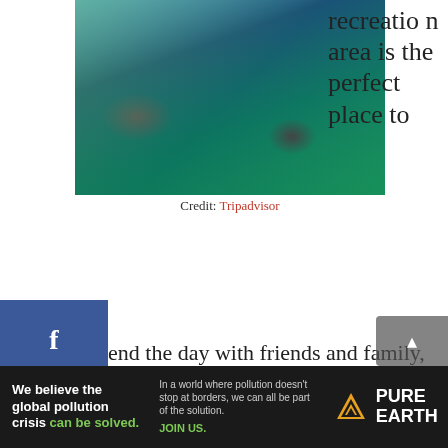[Figure (photo): Aerial/close view of a rocky stream with blue-green water, rocks and green vegetation — Swansey Recreation Area]
Credit: Tripadvisor
recreation area is the perfect place to spend the day with friends and family, from hiking trails to camping spots.
The trails in Swansey Recreation Area are either paved or dirt. If you're in the mood for a more adventurous hike, there are many options for that too!
There are also six different campgrounds in Swansey. This recreation area makes it easy to find your spot with tent sites, RV sites, and cabins available.
[Figure (infographic): Pure Earth advertisement banner: 'We believe the global pollution crisis can be solved. In a world where pollution doesn't stop at borders, we can all be part of the solution. JOIN US.' with Pure Earth logo.]